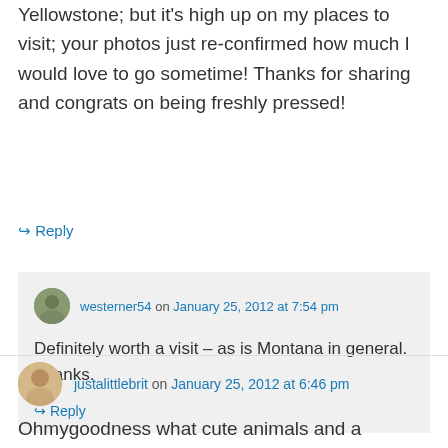Yellowstone; but it's high up on my places to visit; your photos just re-confirmed how much I would love to go sometime! Thanks for sharing and congrats on being freshly pressed!
↳ Reply
westerner54 on January 25, 2012 at 7:54 pm
Definitely worth a visit – as is Montana in general. Thanks.
↳ Reply
justalittlebrit on January 25, 2012 at 6:46 pm
Ohmygoodness what cute animals and a